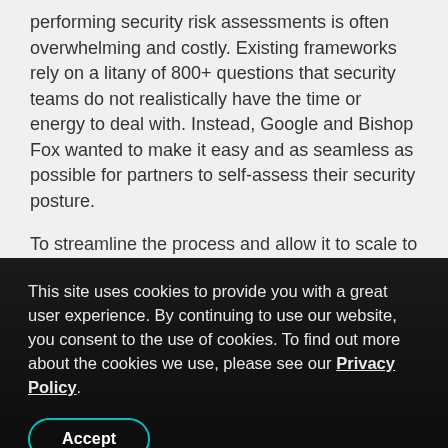performing security risk assessments is often overwhelming and costly. Existing frameworks rely on a litany of 800+ questions that security teams do not realistically have the time or energy to deal with. Instead, Google and Bishop Fox wanted to make it easy and as seamless as possible for partners to self-assess their security posture.
To streamline the process and allow it to scale to a thousand partners, Bishop Fox developed a first-
This site uses cookies to provide you with a great user experience. By continuing to use our website, you consent to the use of cookies. To find out more about the cookies we use, please see our Privacy Policy.
Accept